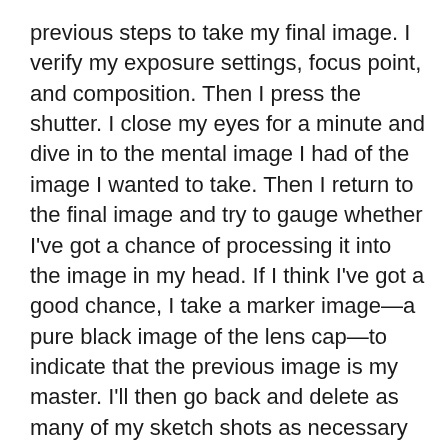previous steps to take my final image. I verify my exposure settings, focus point, and composition. Then I press the shutter. I close my eyes for a minute and dive in to the mental image I had of the image I wanted to take. Then I return to the final image and try to gauge whether I've got a chance of processing it into the image in my head. If I think I've got a good chance, I take a marker image—a pure black image of the lens cap—to indicate that the previous image is my master. I'll then go back and delete as many of my sketch shots as necessary to speed up import and processing later. Just be careful if you do this; I've been dumb enough to delete my final image by accident! The A7 has the option to protect an image, which I do frequently use to make cleaning up sketch shots easier and safer.